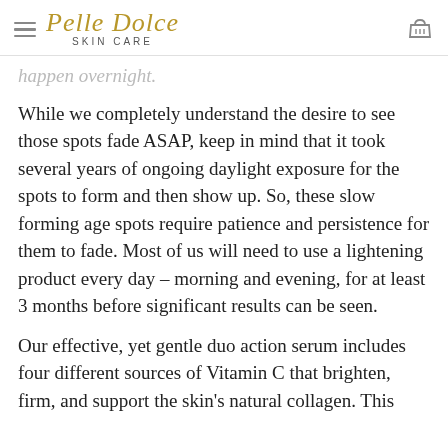Pelle Dolce SKIN CARE
happen overnight.
While we completely understand the desire to see those spots fade ASAP, keep in mind that it took several years of ongoing daylight exposure for the spots to form and then show up. So, these slow forming age spots require patience and persistence for them to fade. Most of us will need to use a lightening product every day – morning and evening, for at least 3 months before significant results can be seen.
Our effective, yet gentle duo action serum includes four different sources of Vitamin C that brighten, firm, and support the skin's natural collagen. This